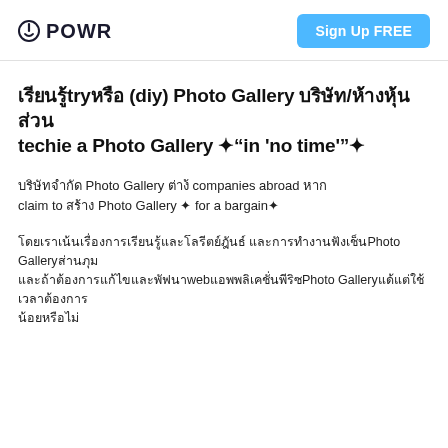POWR | Sign Up FREE
ใช้try（diy) Photo Gallery บริษัท/ห้างหุ้นส่วน techie a Photo Gallery ✦"in 'no time'"✦
บริษัทจำกัด Photo Gallery ต่างๆ companies abroad หาก claim to สร้าง Photo Gallery ✦ for a bargain✦
ใช้ใช้ใช้ใช้ใช้ใช้ใช้ใช้ใช้ใช้ใช้ใช้ใช้ใช้ใช้ใช้ใช้ใช้ใช้ใช้ใช้ ใช้ใช้Photo Galleryใช้ใช้ใช้ ใช้ใช้ใช้ใช้ใช้ใช้ใช้ใช้webใช้ใช้ใช้ใช้ใช้ใช้Photo Galleryใช้ใช้ใช้ใช้ใช้ใช้ใช้ใช้ ใช้ใช้ใช้